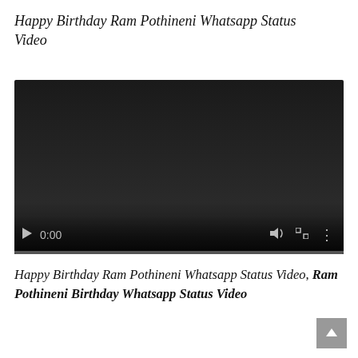Happy Birthday Ram Pothineni Whatsapp Status Video
[Figure (screenshot): Embedded video player showing a dark/black video frame with playback controls at the bottom: play button, time display '0:00', volume icon, fullscreen icon, and options icon. A progress bar runs along the very bottom.]
Happy Birthday Ram Pothineni Whatsapp Status Video, Ram Pothineni Birthday Whatsapp Status Video